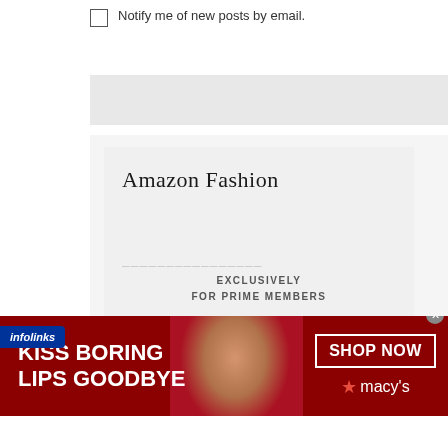Notify me of new posts by email.
[Figure (screenshot): Amazon Fashion advertisement showing '10% OFF Select Scout & Ro Kids Clothing' exclusively for Prime members]
[Figure (infographic): Infolinks branded banner]
[Figure (infographic): Macy's advertisement banner: 'KISS BORING LIPS GOODBYE' with SHOP NOW button and Macy's logo, featuring a woman with red lips]